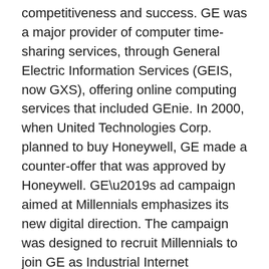competitiveness and success. GE was a major provider of computer time-sharing services, through General Electric Information Services (GEIS, now GXS), offering online computing services that included GEnie. In 2000, when United Technologies Corp. planned to buy Honeywell, GE made a counter-offer that was approved by Honeywell. GE's ad campaign aimed at Millennials emphasizes its new digital direction. The campaign was designed to recruit Millennials to join GE as Industrial Internet developers and remind them — using GE's new watchwords, “The digital company. That’s also an industrial company.” — of GE’s massive digital transformation effort.
Akassa stockholm